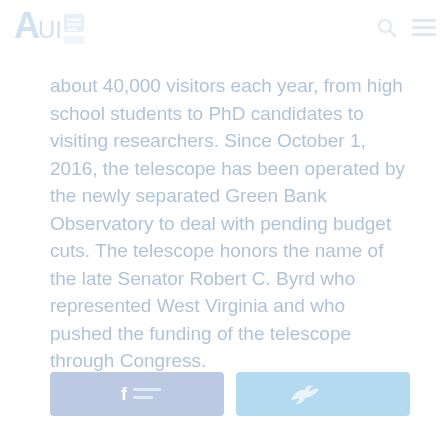AUI logo and navigation icons
about 40,000 visitors each year, from high school students to PhD candidates to visiting researchers. Since October 1, 2016, the telescope has been operated by the newly separated Green Bank Observatory to deal with pending budget cuts. The telescope honors the name of the late Senator Robert C. Byrd who represented West Virginia and who pushed the funding of the telescope through Congress.
[Figure (other): Social share buttons for Facebook and Twitter]